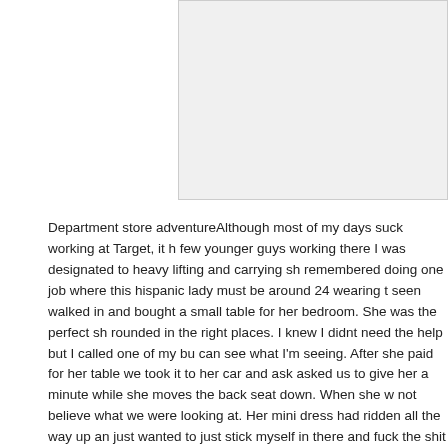[Figure (photo): Image placeholder in upper right area of page]
Department store adventureAlthough most of my days suck working at Target, it had few younger guys working there I was designated to heavy lifting and carrying sh... remembered doing one job where this hispanic lady must be around 24 wearing t... seen walked in and bought a small table for her bedroom. She was the perfect sh... rounded in the right places. I knew I didnt need the help but I called one of my bu... can see what I'm seeing. After she paid for her table we took it to her car and ask... asked us to give her a minute while she moves the back seat down. When she w... not believe what we were looking at. Her mini dress had ridden all the way up an... just wanted to just stick myself in there and fuck the shit out of her. She stayed in... and all I could say was take your time. Once we put the table in her car I offered ... charge. She smiled gave me a wink, and then drove away. Besides the miniskirt l... chick that shops at my store. She's a little under 5 feet and just the most unbeliev... she was Brazilian. Although I am still fairly young she was just way below an age... at the store would tempobet giriş just drool over this girl and I even over heard th... department that he would give his left nut to bang this girl. She would often come... questions. I figure I should act like a dick to her so she would leave me alone and... something stupid. The more I treat her like crap the more it seemed like she wan... Im busy or just ignore her. I am not sure but it started to feel like this girl was so u... wanted that I was the first one to basically tell her to fuck off. One night just befor...